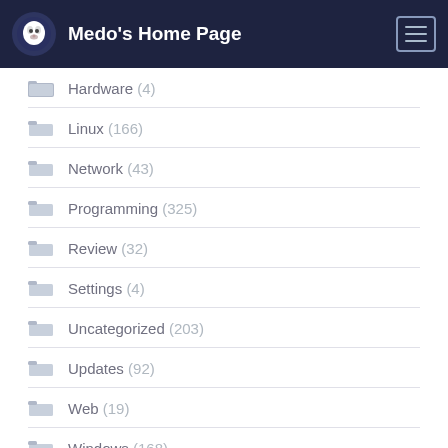Medo's Home Page
Hardware (4)
Linux (166)
Network (43)
Programming (325)
Review (32)
Settings (4)
Uncategorized (203)
Updates (92)
Web (19)
Windows (168)
XigmaNAS (32)